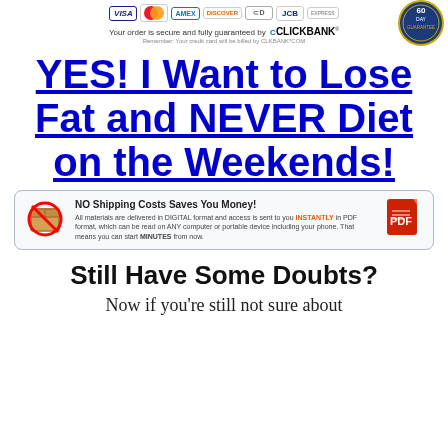[Figure (infographic): Payment card logos: VISA, Mastercard, AMEX, Discover, Diners Club, JCB, and another card. A 60-day guarantee badge in top right corner. Secure order text with ClickBank logo.]
YES! I Want to Lose Fat and NEVER Diet on the Weekends!
[Figure (infographic): NO Shipping Costs Saves You Money! banner box with a crossed-out box icon, text about digital PDF delivery, and a PDF icon on the right.]
Still Have Some Doubts?
Now if you're still not sure about